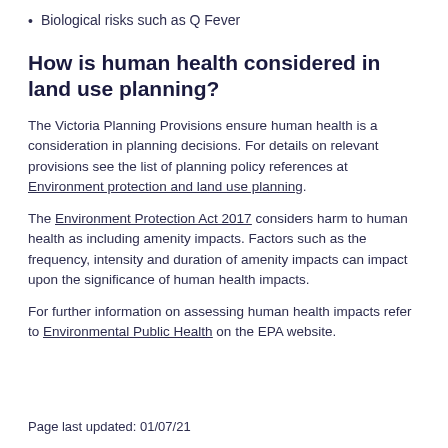Biological risks such as Q Fever
How is human health considered in land use planning?
The Victoria Planning Provisions ensure human health is a consideration in planning decisions. For details on relevant provisions see the list of planning policy references at Environment protection and land use planning.
The Environment Protection Act 2017 considers harm to human health as including amenity impacts. Factors such as the frequency, intensity and duration of amenity impacts can impact upon the significance of human health impacts.
For further information on assessing human health impacts refer to Environmental Public Health on the EPA website.
Page last updated: 01/07/21